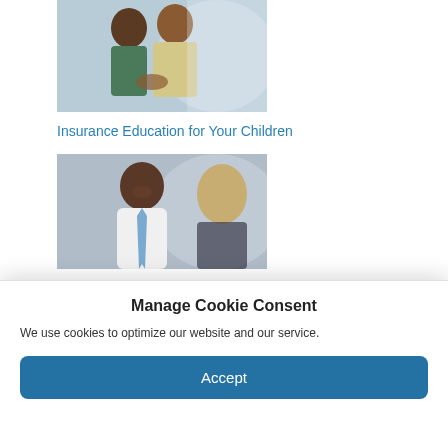[Figure (photo): Two people, a man and a woman, having a conversation. The woman appears to be holding something and smiling.]
Insurance Education for Your Children
[Figure (photo): A smiling man in a white dress shirt and blue tie, with a woman with blonde hair visible in the background.]
Manage Cookie Consent
We use cookies to optimize our website and our service.
Accept